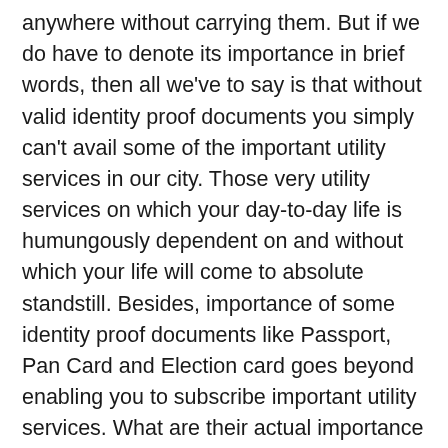anywhere without carrying them. But if we do have to denote its importance in brief words, then all we've to say is that without valid identity proof documents you simply can't avail some of the important utility services in our city. Those very utility services on which your day-to-day life is humungously dependent on and without which your life will come to absolute standstill. Besides, importance of some identity proof documents like Passport, Pan Card and Election card goes beyond enabling you to subscribe important utility services. What are their actual importance and which all documents you have to submit while applying them have been mentioned below in detail. Also, we've mentioned names and complete address of persons/institutions who will help you in processing the documents and hence make your job much easier.